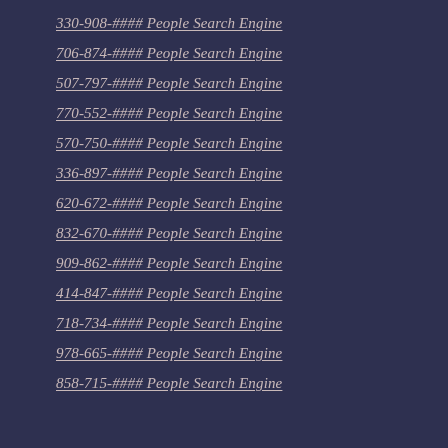330-908-#### People Search Engine
706-874-#### People Search Engine
507-797-#### People Search Engine
770-552-#### People Search Engine
570-750-#### People Search Engine
336-897-#### People Search Engine
620-672-#### People Search Engine
832-670-#### People Search Engine
909-862-#### People Search Engine
414-847-#### People Search Engine
718-734-#### People Search Engine
978-665-#### People Search Engine
858-715-#### People Search Engine